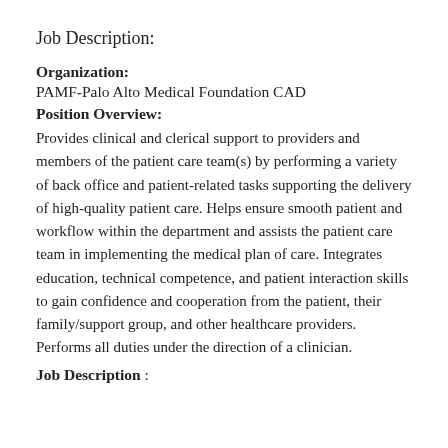Job Description:
Organization:
PAMF-Palo Alto Medical Foundation CAD
Position Overview:
Provides clinical and clerical support to providers and members of the patient care team(s) by performing a variety of back office and patient-related tasks supporting the delivery of high-quality patient care. Helps ensure smooth patient and workflow within the department and assists the patient care team in implementing the medical plan of care. Integrates education, technical competence, and patient interaction skills to gain confidence and cooperation from the patient, their family/support group, and other healthcare providers. Performs all duties under the direction of a clinician.
Job Description :